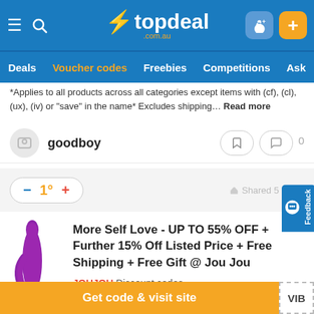topdeal .com.au — Deals | Voucher codes | Freebies | Competitions | Ask
*Applies to all products across all categories except items with (cf), (cl), (ux), (iv) or "save" in the name* Excludes shipping... Read more
goodboy
1°  Shared 5 hours
More Self Love - UP TO 55% OFF + Further 15% Off Listed Price + Free Shipping + Free Gift @ Jou Jou
JOUJOU Discount codes
Get code & visit site  VIB